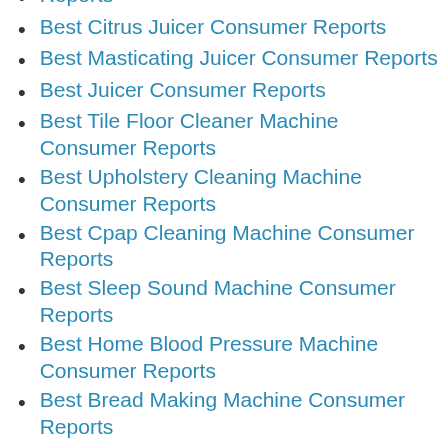Reports
Best Citrus Juicer Consumer Reports
Best Masticating Juicer Consumer Reports
Best Juicer Consumer Reports
Best Tile Floor Cleaner Machine Consumer Reports
Best Upholstery Cleaning Machine Consumer Reports
Best Cpap Cleaning Machine Consumer Reports
Best Sleep Sound Machine Consumer Reports
Best Home Blood Pressure Machine Consumer Reports
Best Bread Making Machine Consumer Reports